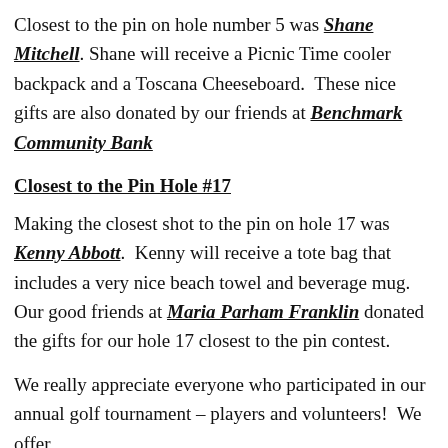Closest to the pin on hole number 5 was Shane Mitchell. Shane will receive a Picnic Time cooler backpack and a Toscana Cheeseboard. These nice gifts are also donated by our friends at Benchmark Community Bank
Closest to the Pin Hole #17
Making the closest shot to the pin on hole 17 was Kenny Abbott. Kenny will receive a tote bag that includes a very nice beach towel and beverage mug. Our good friends at Maria Parham Franklin donated the gifts for our hole 17 closest to the pin contest.
We really appreciate everyone who participated in our annual golf tournament – players and volunteers! We offer